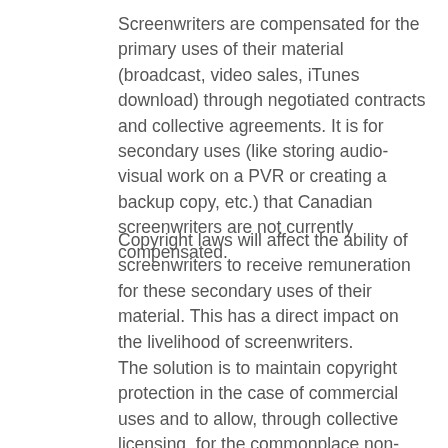Screenwriters are compensated for the primary uses of their material (broadcast, video sales, iTunes download) through negotiated contracts and collective agreements. It is for secondary uses (like storing audio-visual work on a PVR or creating a backup copy, etc.) that Canadian screenwriters are not currently compensated.
Copyright laws will affect the ability of screenwriters to receive remuneration for these secondary uses of their material. This has a direct impact on the livelihood of screenwriters.
The solution is to maintain copyright protection in the case of commercial uses and to allow, through collective licensing, for the commonplace non-commercial uses to which consumers have become accustomed.
The solution for non-commercial use is collective licensing. This system already works for certain Canadian screenwriters and...